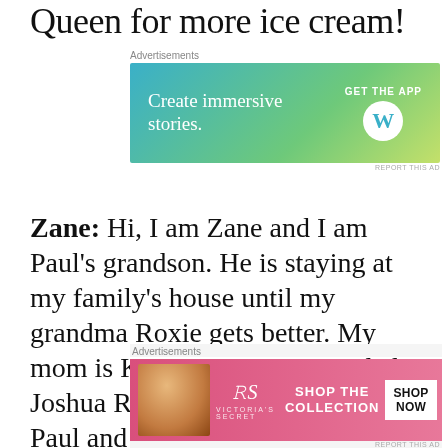Queen for more ice cream!
[Figure (screenshot): Advertisement banner: 'Create immersive stories. GET THE APP' with WordPress logo, blue-to-green gradient background]
Zane: Hi, I am Zane and I am Paul's grandson. He is staying at my family's house until my grandma Roxie gets better. My mom is Kristine Raymo. My dad is Joshua Raymo. My dad is one of Paul and Roxie's sons. Paul LOVES ice cream.
[Figure (screenshot): Victoria's Secret advertisement banner: woman's face, VS logo, 'SHOP THE COLLECTION', 'SHOP NOW' button on pink background]